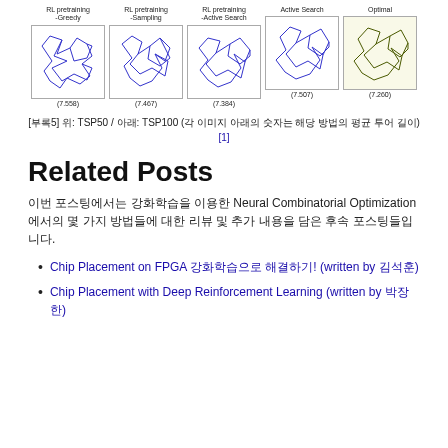[Figure (illustration): Five TSP route visualization plots side by side: RL pretraining -Greedy (7.558), RL pretraining -Sampling (7.467), RL pretraining -Active Search (7.384), Active Search (7.507), Optimal (7.260)]
[부록5] 위: TSP50 / 아래: TSP100 (각 이미지 아래의 숫자는 해당 방법의 평균 투어 길이) [1]
Related Posts
이번 포스팅에서는 강화학습을 이용한 Neural Combinatorial Optimization 에서의 몇 가지 방법들에 대한 리뷰 및 추가 내용을 담은 후속 포스팅들입니다.
Chip Placement on FPGA 강화학습으로 해결하기! (written by 김석훈)
Chip Placement with Deep Reinforcement Learning (written by 박장한)